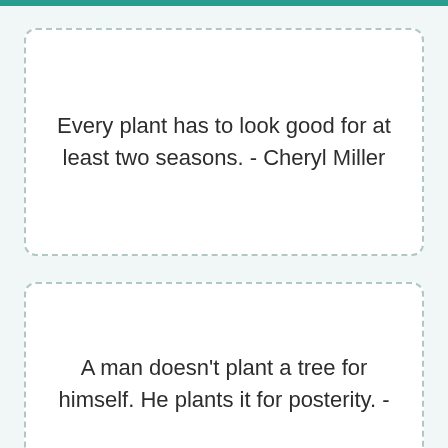Every plant has to look good for at least two seasons. - Cheryl Miller
A man doesn't plant a tree for himself. He plants it for posterity. -